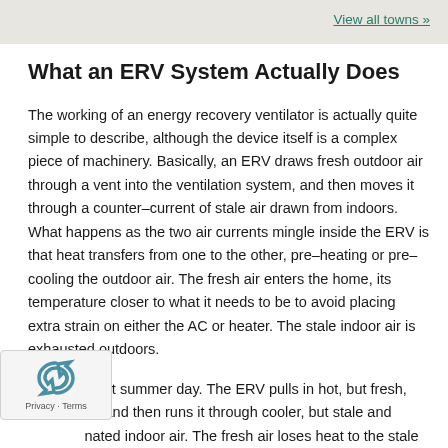View all towns »
What an ERV System Actually Does
The working of an energy recovery ventilator is actually quite simple to describe, although the device itself is a complex piece of machinery. Basically, an ERV draws fresh outdoor air through a vent into the ventilation system, and then moves it through a counter-current of stale air drawn from indoors. What happens as the two air currents mingle inside the ERV is that heat transfers from one to the other, pre-heating or pre-cooling the outdoor air. The fresh air enters the home, its temperature closer to what it needs to be to avoid placing extra strain on either the AC or heater. The stale indoor air is exhausted outdoors.
Imagine a hot summer day. The ERV pulls in hot, but fresh, air and then runs it through cooler, but stale and inated indoor air. The fresh air loses heat to the stale air, ls down. The fresh air is now much cooler so that when it reaches the indoors, it won't cause the air conditioner to have to